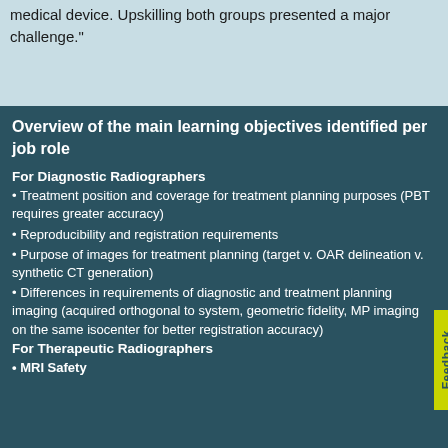medical device. Upskilling both groups presented a major challenge."
Overview of the main learning objectives identified per job role
For Diagnostic Radiographers
• Treatment position and coverage for treatment planning purposes (PBT requires greater accuracy)
• Reproducibility and registration requirements
• Purpose of images for treatment planning (target v. OAR delineation v. synthetic CT generation)
• Differences in requirements of diagnostic and treatment planning imaging (acquired orthogonal to system, geometric fidelity, MP imaging on the same isocenter for better registration accuracy)
For Therapeutic Radiographers
• MRI Safety